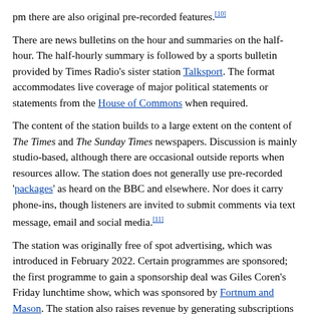pm there are also original pre-recorded features.[10]
There are news bulletins on the hour and summaries on the half-hour. The half-hourly summary is followed by a sports bulletin provided by Times Radio's sister station Talksport. The format accommodates live coverage of major political statements or statements from the House of Commons when required.
The content of the station builds to a large extent on the content of The Times and The Sunday Times newspapers. Discussion is mainly studio-based, although there are occasional outside reports when resources allow. The station does not generally use pre-recorded 'packages' as heard on the BBC and elsewhere. Nor does it carry phone-ins, though listeners are invited to submit comments via text message, email and social media.[11]
The station was originally free of spot advertising, which was introduced in February 2022. Certain programmes are sponsored; the first programme to gain a sponsorship deal was Giles Coren's Friday lunchtime show, which was sponsored by Fortnum and Mason. The station also raises revenue by generating subscriptions to The Times and The Sunday Times online.[12] There are frequent announcements encouraging listeners to take out a subscription, especially after items directly related to a newspaper article.